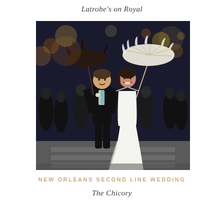Latrobe's on Royal
[Figure (photo): A bride in a white off-shoulder wedding dress and groom in a black tuxedo walking joyfully down a street at night, leading a New Orleans second line parade with brass band musicians behind them. The bride holds a decorative white feathered parasol and the groom holds a dark feathered umbrella. Nighttime city street scene with blurred lights in the background.]
NEW ORLEANS SECOND LINE WEDDING
The Chicory